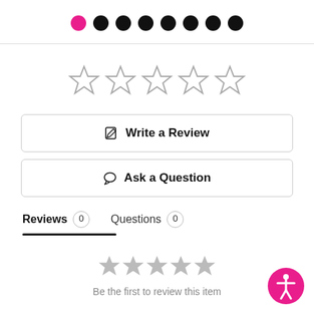[Figure (other): Pagination dots row: first dot is pink/active, remaining 7 dots are black]
[Figure (other): 5 empty star rating icons in a row (outline style, grey)]
Write a Review
Ask a Question
Reviews 0
Questions 0
[Figure (other): 5 small grey star icons]
Be the first to review this item
[Figure (other): Accessibility icon button (pink circle with human figure)]